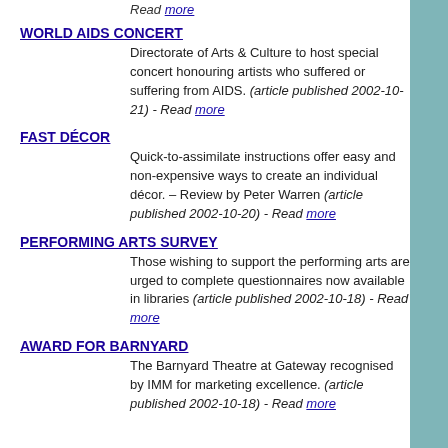Read more
WORLD AIDS CONCERT
Directorate of Arts & Culture to host special concert honouring artists who suffered or suffering from AIDS. (article published 2002-10-21) - Read more
FAST DÉCOR
Quick-to-assimilate instructions offer easy and non-expensive ways to create an individual décor. – Review by Peter Warren (article published 2002-10-20) - Read more
PERFORMING ARTS SURVEY
Those wishing to support the performing arts are urged to complete questionnaires now available in libraries (article published 2002-10-18) - Read more
AWARD FOR BARNYARD
The Barnyard Theatre at Gateway recognised by IMM for marketing excellence. (article published 2002-10-18) - Read more